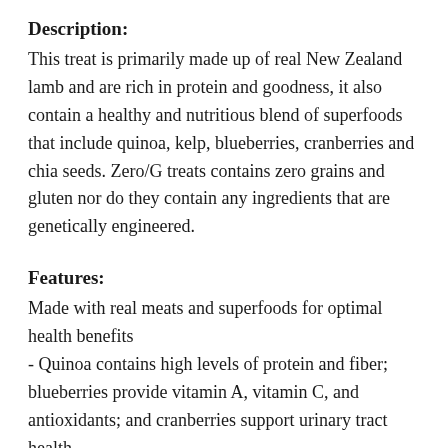Description:
This treat is primarily made up of real New Zealand lamb and are rich in protein and goodness, it also contain a healthy and nutritious blend of superfoods that include quinoa, kelp, blueberries, cranberries and chia seeds. Zero/G treats contains zero grains and gluten nor do they contain any ingredients that are genetically engineered.
Features:
Made with real meats and superfoods for optimal health benefits
- Quinoa contains high levels of protein and fiber; blueberries provide vitamin A, vitamin C, and antioxidants; and cranberries support urinary tract health.
- Chia seeds are an excellent source of thiamine and niacin,